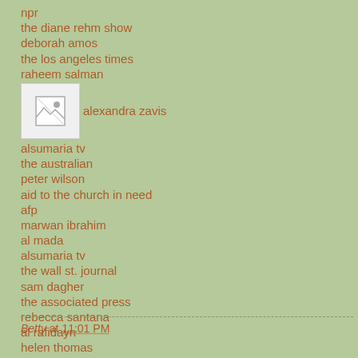npr
the diane rehm show
deborah amos
the los angeles times
raheem salman
[Figure (other): Broken image placeholder icon followed by text 'alexandra zavis']
alsumaria tv
the australian
peter wilson
aid to the church in need
afp
marwan ibrahim
al mada
alsumaria tv
the wall st. journal
sam dagher
the associated press
rebecca santana
al rafidayn
helen thomas
falls church news-press
Betty at 11:01 PM